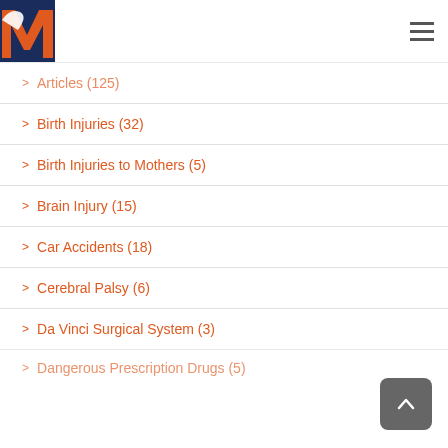[Figure (logo): Law firm logo with orange M on dark navy blue background, top left corner]
Articles (125)
Birth Injuries (32)
Birth Injuries to Mothers (5)
Brain Injury (15)
Car Accidents (18)
Cerebral Palsy (6)
Da Vinci Surgical System (3)
Dangerous Prescription Drugs (5)